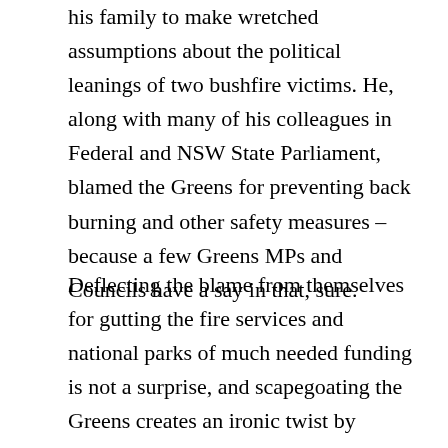his family to make wretched assumptions about the political leanings of two bushfire victims. He, along with many of his colleagues in Federal and NSW State Parliament, blamed the Greens for preventing back burning and other safety measures – because a few Greens MPs and Councils have a say in that, sure.
Deflecting the blame from themselves for gutting the fire services and national parks of much needed funding is not a surprise, and scapegoating the Greens creates an ironic twist by accusing the party dedicated to the environment of being at fault for environmental catastrophe. But this is a vicious campaign that still has some sparring over it, which is quite bizarre considering the Greens are only a minor party. Sure, much of it has to do with controversy and distraction, but to so